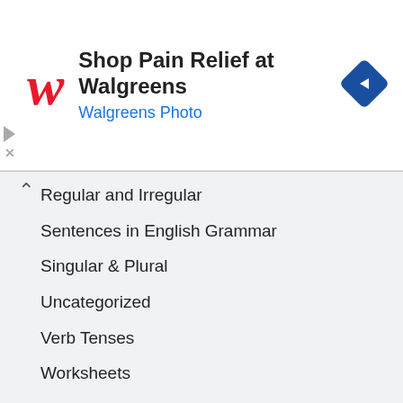[Figure (infographic): Walgreens advertisement banner with red W logo, text 'Shop Pain Relief at Walgreens' and 'Walgreens Photo' in blue, and a blue diamond navigation icon on the right.]
Regular and Irregular
Sentences in English Grammar
Singular & Plural
Uncategorized
Verb Tenses
Worksheets
Worksheets in English Grammar
Writing